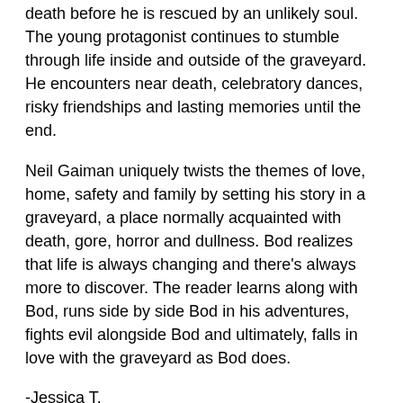death before he is rescued by an unlikely soul. The young protagonist continues to stumble through life inside and outside of the graveyard. He encounters near death, celebratory dances, risky friendships and lasting memories until the end.
Neil Gaiman uniquely twists the themes of love, home, safety and family by setting his story in a graveyard, a place normally acquainted with death, gore, horror and dullness. Bod realizes that life is always changing and there's always more to discover. The reader learns along with Bod, runs side by side Bod in his adventures, fights evil alongside Bod and ultimately, falls in love with the graveyard as Bod does.
-Jessica T.
The Graveyard Book by Neil Gaiman is available for